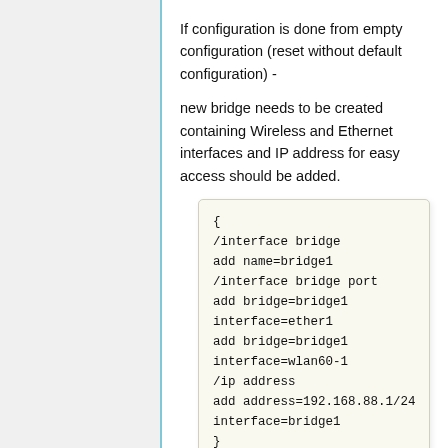If configuration is done from empty configuration (reset without default configuration) -
new bridge needs to be created containing Wireless and Ethernet interfaces and IP address for easy access should be added.
[Figure (screenshot): Code block showing MikroTik RouterOS CLI commands to create a bridge, add bridge ports for ether1 and wlan60-1, and set IP address 192.168.88.1/24 on bridge1]
For Access Point add this line to ensure all connected stations will be put in same bridge.
[Figure (screenshot): Partial code block showing /interface w60g set wlan60-1 command]